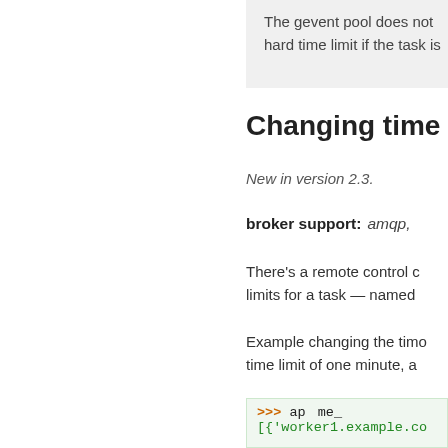The gevent pool does not hard time limit if the task is
Changing time lim
New in version 2.3.
broker support:  amqp,
There's a remote control c limits for a task — named
Example changing the timo time limit of one minute, a
[Figure (screenshot): Code block showing Python shell prompt with '>>> ap' and version badge overlay 'v: master', followed by line "[{'worker1.example.co"]